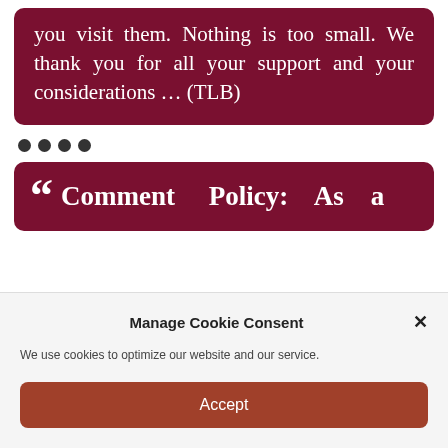you visit them. Nothing is too small. We thank you for all your support and your considerations … (TLB)
•••• (decorative dots)
" Comment Policy: As a
Manage Cookie Consent
We use cookies to optimize our website and our service.
Accept